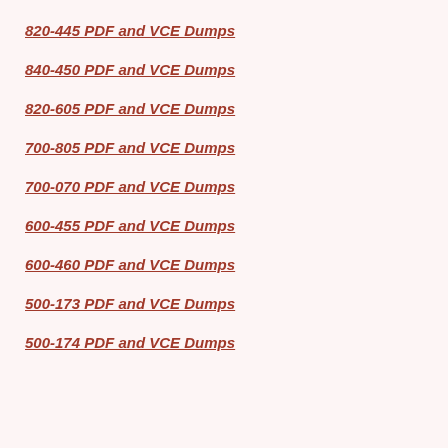820-445 PDF and VCE Dumps
840-450 PDF and VCE Dumps
820-605 PDF and VCE Dumps
700-805 PDF and VCE Dumps
700-070 PDF and VCE Dumps
600-455 PDF and VCE Dumps
600-460 PDF and VCE Dumps
500-173 PDF and VCE Dumps
500-174 PDF and VCE Dumps